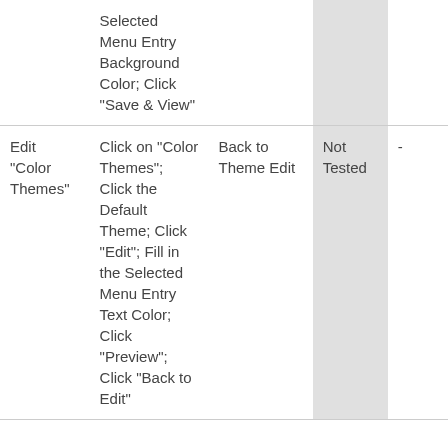|  | Selected Menu Entry Background Color; Click "Save & View" |  | Not Tested |  |
| Edit "Color Themes" | Click on "Color Themes"; Click the Default Theme; Click "Edit"; Fill in the Selected Menu Entry Text Color; Click "Preview"; Click "Back to Edit" | Back to Theme Edit | Not Tested | - |